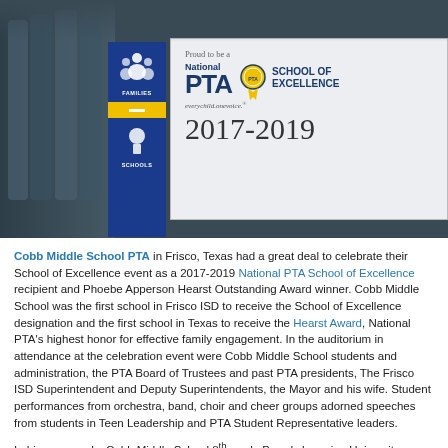[Figure (photo): Group photo of people in blue shirts holding a National PTA School of Excellence 2017-2019 banner in what appears to be a school library or gymnasium. A blue PTA Families/Schools banner is also visible on the left side.]
Cobb Middle School PTA in Frisco, Texas had a great deal to celebrate at their School of Excellence event as a 2017-2019 National PTA School of Excellence recipient and Phoebe Apperson Hearst Outstanding Award winner. Cobb Middle School was the first school in Frisco ISD to receive the School of Excellence designation and the first school in Texas to receive the Hearst Award, National PTA's highest honor for effective family engagement. In the auditorium in attendance at the celebration event were Cobb Middle School students and administration, the PTA Board of Trustees and past PTA presidents, The Frisco ISD Superintendent and Deputy Superintendents, the Mayor and his wife. Student performances from orchestra, band, choir and cheer groups adorned speeches from students in Teen Leadership and PTA Student Representative leaders.
In his own words, Cobb Middle School 8th grade Boar champion University...